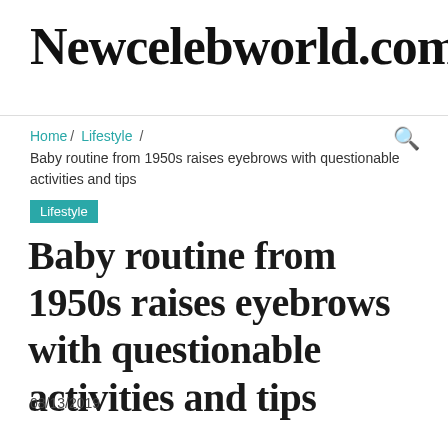Newcelebworld.com
Home / Lifestyle / Baby routine from 1950s raises eyebrows with questionable activities and tips
Lifestyle
Baby routine from 1950s raises eyebrows with questionable activities and tips
08/13/2019